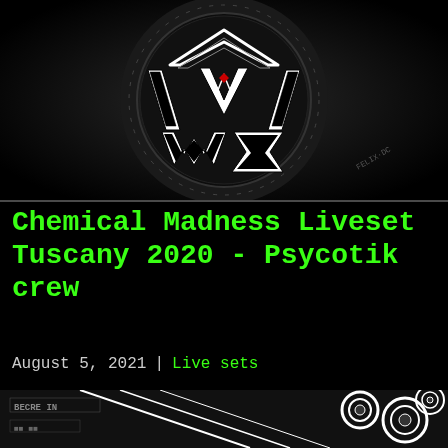[Figure (logo): Black background with stylized geometric logo in white/black, resembling angular letters with a small red accent, and small text 'FELIX-DC' in the lower right]
Chemical Madness Liveset Tuscany 2020 - Psycotik crew
August 5, 2021 | Live sets
[Figure (illustration): Black and white illustration showing speaker cones and text art at lower portion of the page]